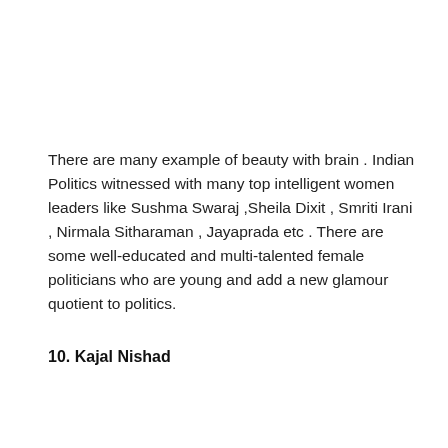There are many example of beauty with brain . Indian Politics witnessed with many top intelligent women leaders like Sushma Swaraj ,Sheila Dixit , Smriti Irani , Nirmala Sitharaman , Jayaprada etc . There are some well-educated and multi-talented female politicians who are young and add a new glamour quotient to politics.
10. Kajal Nishad